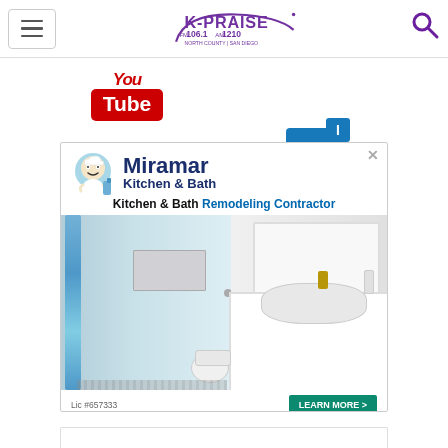[Figure (logo): K-PRAISE FM 106.1 AM 1210 North County San Diego radio station logo with navigation hamburger menu and search icon]
[Figure (logo): YouTube logo icon (red with You in italic above Tube in red box)]
[Figure (logo): TI (text inspector) blue square icon]
[Figure (photo): Miramar Kitchen & Bath advertisement showing remodeled bathroom with shower and vanity. Text: Kitchen & Bath Remodeling Contractor. LEARN MORE button. Lic #657333]